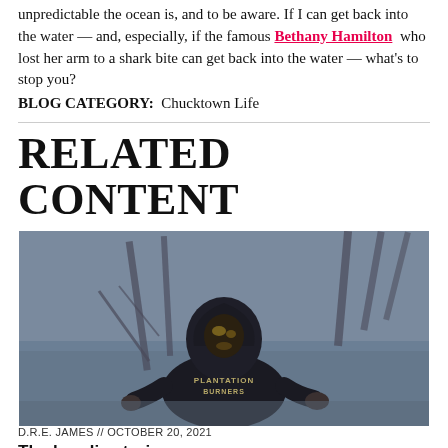unpredictable the ocean is, and to be aware. If I can get back into the water — and, especially, if the famous Bethany Hamilton who lost her arm to a shark bite can get back into the water — what's to stop you?
BLOG CATEGORY:  Chucktown Life
RELATED CONTENT
[Figure (photo): Person wearing a dark hoodie with 'PLANTATION BURNERS' text and a mask, standing in shallow water with wooden posts/pilings visible in the background. Dark, moody blue-gray atmosphere.]
D.R.E. JAMES // OCTOBER 20, 2021
The hoodie stories